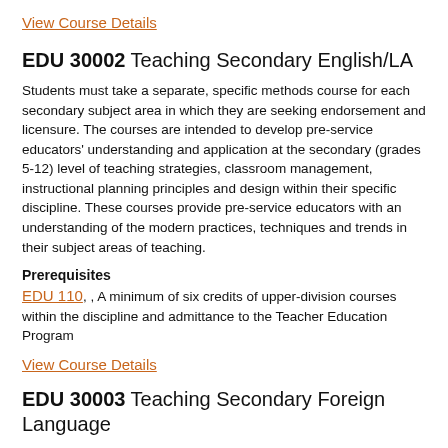View Course Details
EDU 30002 Teaching Secondary English/LA
Students must take a separate, specific methods course for each secondary subject area in which they are seeking endorsement and licensure. The courses are intended to develop pre-service educators' understanding and application at the secondary (grades 5-12) level of teaching strategies, classroom management, instructional planning principles and design within their specific discipline. These courses provide pre-service educators with an understanding of the modern practices, techniques and trends in their subject areas of teaching.
Prerequisites
EDU 110, , A minimum of six credits of upper-division courses within the discipline and admittance to the Teacher Education Program
View Course Details
EDU 30003 Teaching Secondary Foreign Language
Students must take a separate, specific methods the...